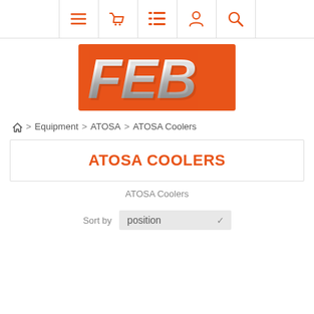[Figure (screenshot): Navigation bar with icons: hamburger menu, shopping basket, list/filter, user account, and search (magnifying glass) in orange on white background]
[Figure (logo): FEB logo: bold silver metallic letters FEB on an orange rectangular background]
Home > Equipment > ATOSA > ATOSA Coolers
ATOSA COOLERS
ATOSA Coolers
Sort by position